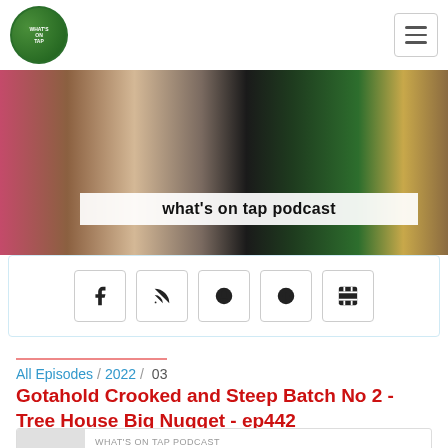[Figure (logo): What's On Tap podcast circular logo with two figures on green background]
[Figure (photo): Hero banner image showing beer cans and art prints with 'what's on tap podcast' title overlay]
[Figure (infographic): Social media icons bar with Facebook, RSS, Podcast, Plus, and Film strip icons]
All Episodes / 2022 / 03
Gotahold Crooked and Steep Batch No 2 - Tree House Big Nugget - ep442
[Figure (screenshot): Podcast player card showing play button, WHAT'S ON TAP PODCAST label, and episode title 'Gotahold Crooked and Steep Batch No 2 - Tre...']